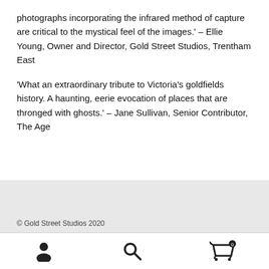photographs incorporating the infrared method of capture are critical to the mystical feel of the images.' – Ellie Young, Owner and Director, Gold Street Studios, Trentham East
'What an extraordinary tribute to Victoria's goldfields history. A haunting, eerie evocation of places that are thronged with ghosts.' – Jane Sullivan, Senior Contributor, The Age
© Gold Street Studios 2020